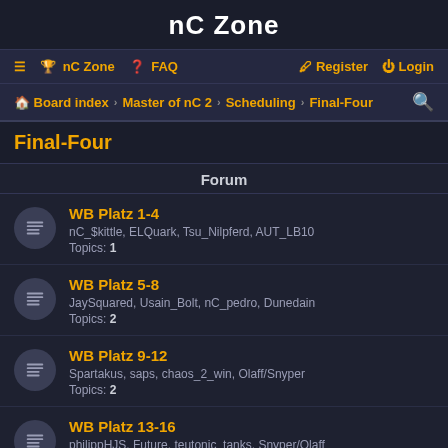nC Zone
≡ 🏆 nC Zone ❓ FAQ  Register Login
Board index › Master of nC 2 › Scheduling › Final-Four
Final-Four
| Forum |
| --- |
| WB Platz 1-4 | nC_$kittle, ELQuark, Tsu_Nilpferd, AUT_LB10 | Topics: 1 |
| WB Platz 5-8 | JaySquared, Usain_Bolt, nC_pedro, Dunedain | Topics: 2 |
| WB Platz 9-12 | Spartakus, saps, chaos_2_win, Olaff/Snyper | Topics: 2 |
| WB Platz 13-16 | philippHJS, Future, teutonic_tanks, Snyper/Olaff | Topics: 3 |
| LB Platz 17-21 | brizzel, Tiger/homers84, Bratwurst, damax/Gerd | Topics: ? |